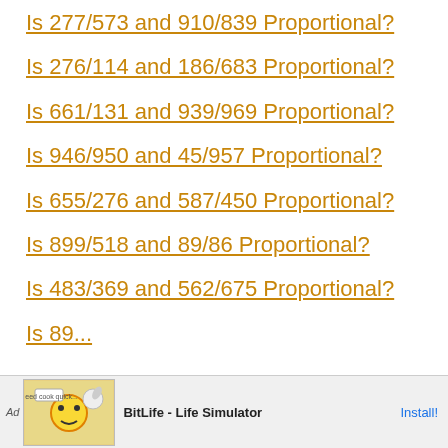Is 277/573 and 910/839 Proportional?
Is 276/114 and 186/683 Proportional?
Is 661/131 and 939/969 Proportional?
Is 946/950 and 45/957 Proportional?
Is 655/276 and 587/450 Proportional?
Is 899/518 and 89/86 Proportional?
Is 483/369 and 562/675 Proportional?
Is 89... Proportional?
[Figure (screenshot): Advertisement banner for BitLife - Life Simulator app with Install button]